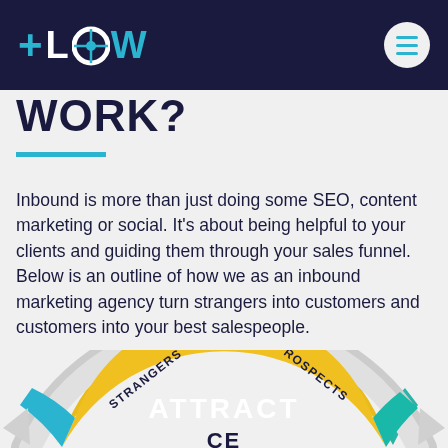FLOW
WORK?
Inbound is more than just doing some SEO, content marketing or social. It's about being helpful to your clients and guiding them through your sales funnel. Below is an outline of how we as an inbound marketing agency turn strangers into customers and customers into your best salespeople.
[Figure (infographic): Circular inbound marketing flywheel diagram showing ATTRACT stage (yellow arc) with labels STRANGERS on left and PROSPECTS on right, with arrows and partial inner wheel visible at bottom.]